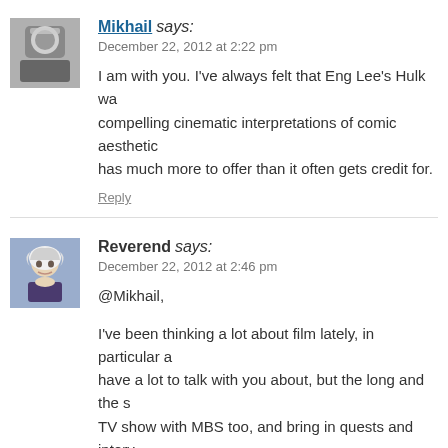[Figure (photo): Black and white avatar photo of Mikhail, a person in a suit]
Mikhail says:
December 22, 2012 at 2:22 pm
I am with you. I’ve always felt that Eng Lee’s Hulk wa... compelling cinematic interpretations of comic aesthetic... has much more to offer than it often gets credit for.
Reply
[Figure (illustration): Colored avatar illustration of Reverend, a white-haired older man]
Reverend says:
December 22, 2012 at 2:46 pm
@Mikhail,
I’ve been thinking a lot about film lately, in particular a... have a lot to talk with you about, but the long and the s... TV show with MBS too, and bring in quests and interv... or two shows every week, I think it would be a blast. I...